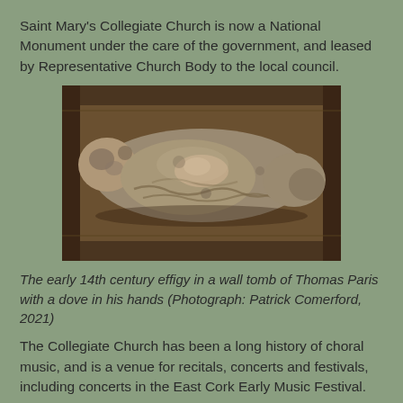Saint Mary's Collegiate Church is now a National Monument under the care of the government, and leased by Representative Church Body to the local council.
[Figure (photo): Photograph of an early 14th century stone effigy in a wall tomb of Thomas Paris, showing a recumbent figure holding a dove in his hands, photographed by Patrick Comerford in 2021.]
The early 14th century effigy in a wall tomb of Thomas Paris with a dove in his hands (Photograph: Patrick Comerford, 2021)
The Collegiate Church has been a long history of choral music, and is a venue for recitals, concerts and festivals, including concerts in the East Cork Early Music Festival.
From 2005 each choir has...